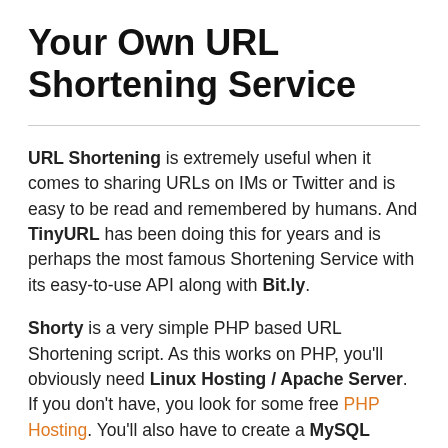Your Own URL Shortening Service
URL Shortening is extremely useful when it comes to sharing URLs on IMs or Twitter and is easy to be read and remembered by humans. And TinyURL has been doing this for years and is perhaps the most famous Shortening Service with its easy-to-use API along with Bit.ly.
Shorty is a very simple PHP based URL Shortening script. As this works on PHP, you'll obviously need Linux Hosting / Apache Server. If you don't have, you look for some free PHP Hosting. You'll also have to create a MySQL Database to store shortened addresses and its